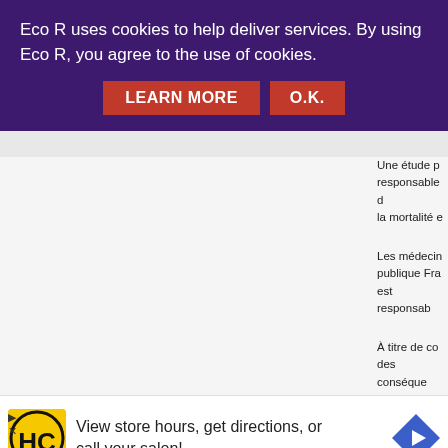Eco R uses cookies to help deliver services. By using Eco R, you agree to the use of cookies.
LEARN MORE   O.K.
Une étude p... responsable d... la mortalité e...
Les médecin... publique Fra... est responsab...
À titre de co... des conséque... 21/6/16
Reply
[Figure (screenshot): Advertisement bar with HC logo, text 'View store hours, get directions, or call your salon!' and a navigation arrow icon]
View store hours, get directions, or call your salon!